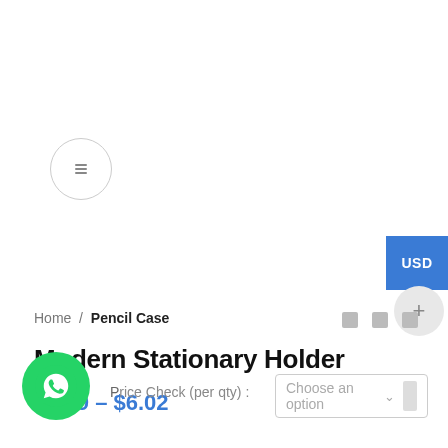[Figure (screenshot): Navigation circle icon button with a bookmark/menu symbol]
[Figure (screenshot): Blue USD currency selector button]
[Figure (screenshot): Gray plus circle button]
Home / Pencil Case
Modern Stationary Holder
$2.69 – $6.02
[Figure (screenshot): WhatsApp green circle button]
Price Check (per qty): Choose an option